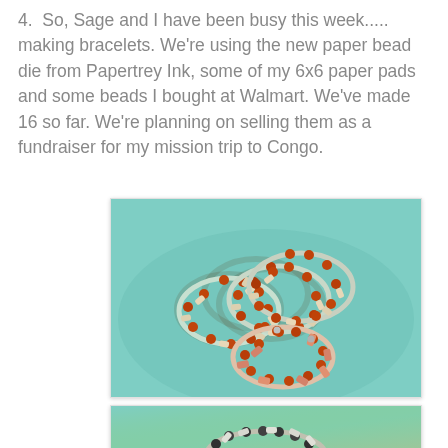4.  So, Sage and I have been busy this week..... making bracelets. We're using the new paper bead die from Papertrey Ink, some of my 6x6 paper pads and some beads I bought at Walmart. We've made 16 so far. We're planning on selling them as a fundraiser for my mission trip to Congo.
[Figure (photo): Photo of multiple handmade paper bead bracelets arranged on a teal/mint colored dish. The bracelets feature orange/amber round beads alternating with cream-colored paper beads, plus one bracelet with coral/pink paper beads.]
[Figure (photo): Partial photo of another handmade bracelet on a teal background, partially cut off at bottom of page.]